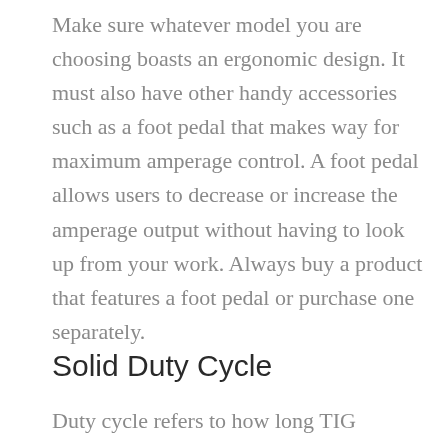Make sure whatever model you are choosing boasts an ergonomic design. It must also have other handy accessories such as a foot pedal that makes way for maximum amperage control. A foot pedal allows users to decrease or increase the amperage output without having to look up from your work. Always buy a product that features a foot pedal or purchase one separately.
Solid Duty Cycle
Duty cycle refers to how long TIG